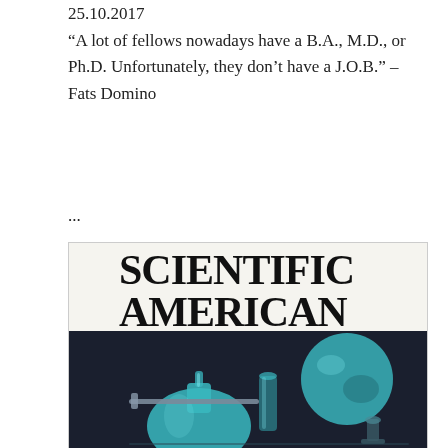25.10.2017
“A lot of fellows nowadays have a B.A., M.D., or Ph.D. Unfortunately, they don’t have a J.O.B.” – Fats Domino
...
[Figure (photo): Cover of Scientific American magazine showing large bold text 'SCIENTIFIC AMERICAN' over a dark background with illuminated laboratory glassware including a flask, round-bottom bottle, and other scientific instruments in teal/cyan tones]